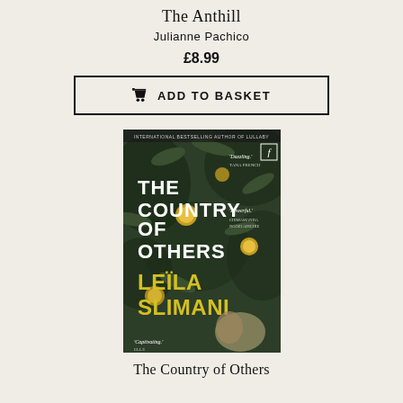The Anthill
Julianne Pachico
£8.99
[Figure (screenshot): ADD TO BASKET button with cart icon, black border rectangle]
[Figure (photo): Book cover of 'The Country of Others' by Leila Slimani. Dark green background with foliage and citrus fruit. Large white text reads THE COUNTRY OF OTHERS, yellow text reads LEILA SLIMANI. Quotes: 'Dazzling' Tana French, 'Powerful' Chimamanda Ngozi Adichie, 'Captivating' Elle. Faber & Faber logo top right. Banner: International Bestselling Author of Lullaby.]
The Country of Others